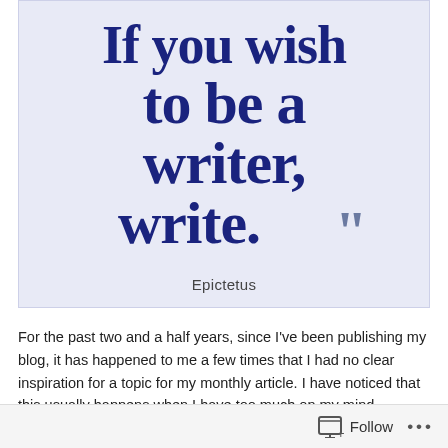[Figure (illustration): Light blue/lavender background quote image with handwritten-style dark navy text reading 'If you wish to be a writer, write.' followed by closing quotation marks, attributed to Epictetus]
For the past two and a half years, since I've been publishing my blog, it has happened to me a few times that I had no clear inspiration for a topic for my monthly article. I have noticed that this usually happens when I have too much on my mind.
Follow ...